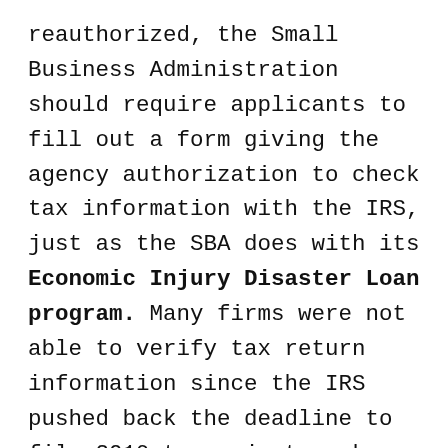reauthorized, the Small Business Administration should require applicants to fill out a form giving the agency authorization to check tax information with the IRS, just as the SBA does with its Economic Injury Disaster Loan program. Many firms were not able to verify tax return information since the IRS pushed back the deadline to file 2019 taxes just weeks before the Paycheck Protection Program expired. The Small Business Administration should use actual tax documents rather than relying on